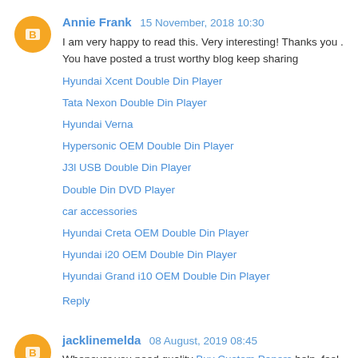Annie Frank 15 November, 2018 10:30
I am very happy to read this. Very interesting! Thanks you . You have posted a trust worthy blog keep sharing
Hyundai Xcent Double Din Player
Tata Nexon Double Din Player
Hyundai Verna
Hypersonic OEM Double Din Player
J3l USB Double Din Player
Double Din DVD Player
car accessories
Hyundai Creta OEM Double Din Player
Hyundai i20 OEM Double Din Player
Hyundai Grand i10 OEM Double Din Player
Reply
jacklinemelda 08 August, 2019 08:45
Whenever you need quality Buy Custom Papers help, feel